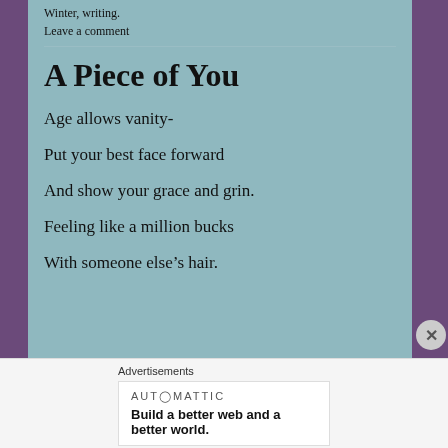Winter, writing.
Leave a comment
A Piece of You
Age allows vanity-
Put your best face forward
And show your grace and grin.
Feeling like a million bucks
With someone else's hair.
Advertisements
AUTOMATTIC
Build a better web and a better world.